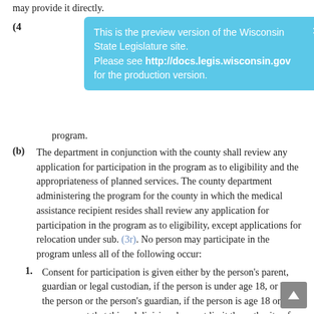may provide it directly.
[Figure (screenshot): Preview banner: 'This is the preview version of the Wisconsin State Legislature site. Please see http://docs.legis.wisconsin.gov for the production version.']
program.
(b) The department in conjunction with the county shall review any application for participation in the program as to eligibility and the appropriateness of planned services. The county department administering the program for the county in which the medical assistance recipient resides shall review any application for participation in the program as to eligibility, except applications for relocation under sub. (3r). No person may participate in the program unless all of the following occur:
1. Consent for participation is given either by the person's parent, guardian or legal custodian, if the person is under age 18, or by the person or the person's guardian, if the person is age 18 or over, except that this subdivision does not limit the authority of the circuit court to enter, change, revise or extend a dispositional order under subch. VI of ch. 48 or subch. VI of ch. 938 or to order a protective placement or protective services under s. 55.12.